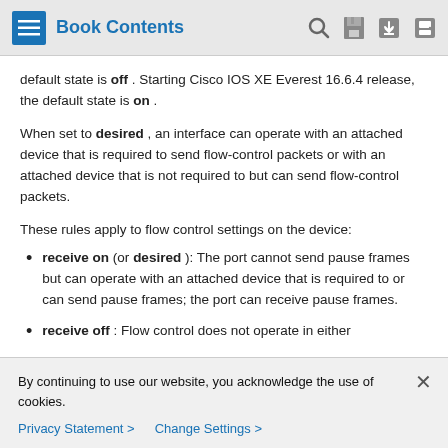Book Contents
default state is off . Starting Cisco IOS XE Everest 16.6.4 release, the default state is on .
When set to desired , an interface can operate with an attached device that is required to send flow-control packets or with an attached device that is not required to but can send flow-control packets.
These rules apply to flow control settings on the device:
receive on (or desired ): The port cannot send pause frames but can operate with an attached device that is required to or can send pause frames; the port can receive pause frames.
receive off : Flow control does not operate in either
By continuing to use our website, you acknowledge the use of cookies.
Privacy Statement > Change Settings >